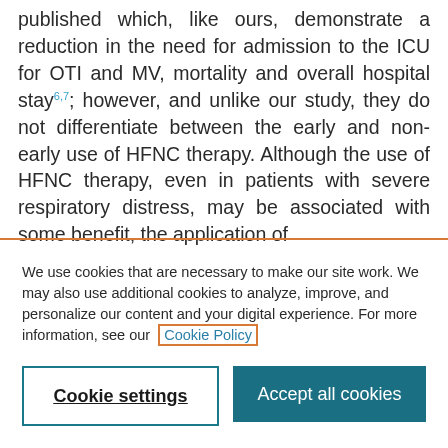published which, like ours, demonstrate a reduction in the need for admission to the ICU for OTI and MV, mortality and overall hospital stay6,7; however, and unlike our study, they do not differentiate between the early and non-early use of HFNC therapy. Although the use of HFNC therapy, even in patients with severe respiratory distress, may be associated with some benefit, the application of
We use cookies that are necessary to make our site work. We may also use additional cookies to analyze, improve, and personalize our content and your digital experience. For more information, see our Cookie Policy